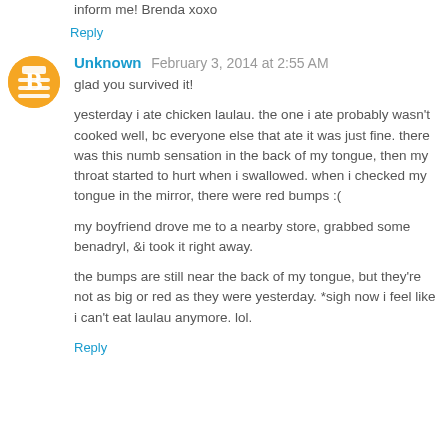inform me! Brenda xoxo
Reply
Unknown  February 3, 2014 at 2:55 AM
glad you survived it!
yesterday i ate chicken laulau. the one i ate probably wasn't cooked well, bc everyone else that ate it was just fine. there was this numb sensation in the back of my tongue, then my throat started to hurt when i swallowed. when i checked my tongue in the mirror, there were red bumps :(
my boyfriend drove me to a nearby store, grabbed some benadryl, &i took it right away.
the bumps are still near the back of my tongue, but they're not as big or red as they were yesterday. *sigh now i feel like i can't eat laulau anymore. lol.
Reply